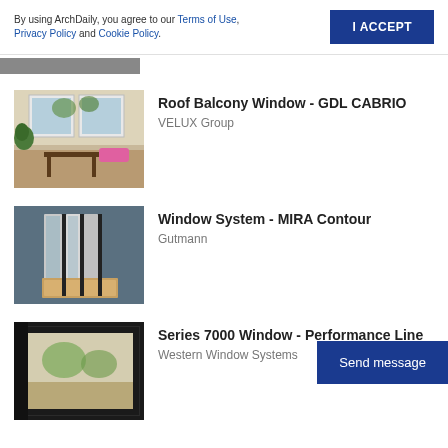By using ArchDaily, you agree to our Terms of Use, Privacy Policy and Cookie Policy.
[Figure (photo): Roof Balcony Window product photo showing interior room with skylight windows opening to balcony]
Roof Balcony Window - GDL CABRIO
VELUX Group
[Figure (photo): Window system cross-section product photo showing aluminum and wood frame components]
Window System - MIRA Contour
Gutmann
[Figure (photo): Series 7000 window product photo showing dark framed window with outdoor view]
Series 7000 Window - Performance Line
Western Window Systems